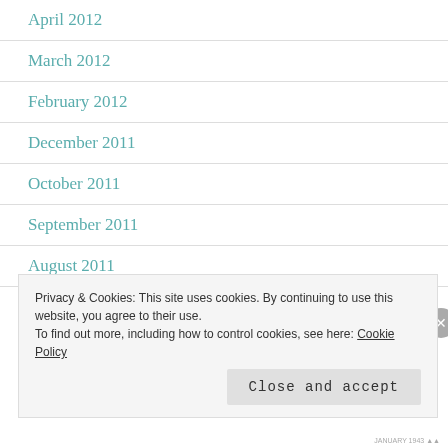April 2012
March 2012
February 2012
December 2011
October 2011
September 2011
August 2011
Privacy & Cookies: This site uses cookies. By continuing to use this website, you agree to their use. To find out more, including how to control cookies, see here: Cookie Policy
Close and accept